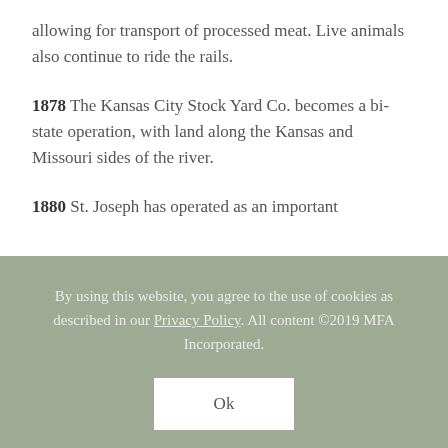allowing for transport of processed meat. Live animals also continue to ride the rails.
1878 The Kansas City Stock Yard Co. becomes a bi-state operation, with land along the Kansas and Missouri sides of the river.
1880 St. Joseph has operated as an important
By using this website, you agree to the use of cookies as described in our Privacy Policy. All content ©2019 MFA Incorporated.